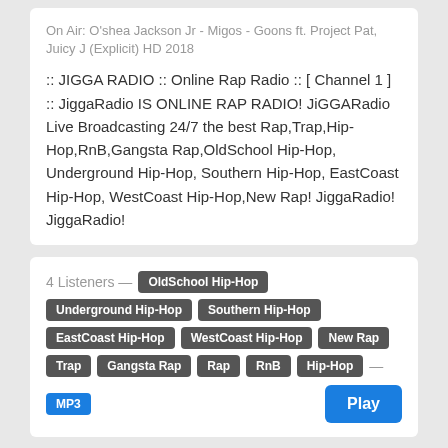On Air: O'shea Jackson Jr - Migos - Goons ft. Project Pat, Juicy J (Explicit) HD 2018
:: JIGGA RADIO :: Online Rap Radio :: [ Channel 1 ] :: JiggaRadio IS ONLINE RAP RADIO! JiGGARadio Live Broadcasting 24/7 the best Rap,Trap,Hip-Hop,RnB,Gangsta Rap,OldSchool Hip-Hop, Underground Hip-Hop, Southern Hip-Hop, EastCoast Hip-Hop, WestCoast Hip-Hop,New Rap! JiggaRadio! JiggaRadio!
4 Listeners — OldSchool Hip-Hop Underground Hip-Hop Southern Hip-Hop EastCoast Hip-Hop WestCoast Hip-Hop New Rap Trap Gangsta Rap Rap RnB Hip-Hop — MP3 Play
:: JIGGA RADIO :: Online Rap Radio :: [ Daylight ] :: jiggaradio.com da do facto